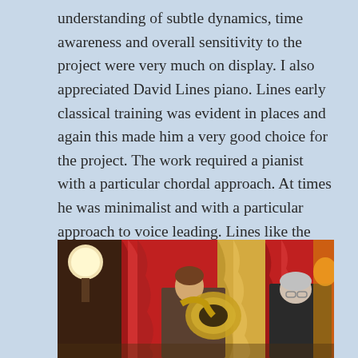understanding of subtle dynamics, time awareness and overall sensitivity to the project were very much on display. I also appreciated David Lines piano. Lines early classical training was evident in places and again this made him a very good choice for the project. The work required a pianist with a particular chordal approach. At times he was minimalist and with a particular approach to voice leading. Lines like the other four were indispensable to the project. Lastly there was Sam Giles – an electric bass player I wish I heard more often. Giles often leans towards the avant-garde and innovative projects. That is where he shines.
[Figure (photo): Two musicians performing on stage with red and gold curtains in the background. One musician plays a brass instrument (tuba or euphonium), another person stands to the right bowing their head. Stage lighting and decorative lamps visible.]